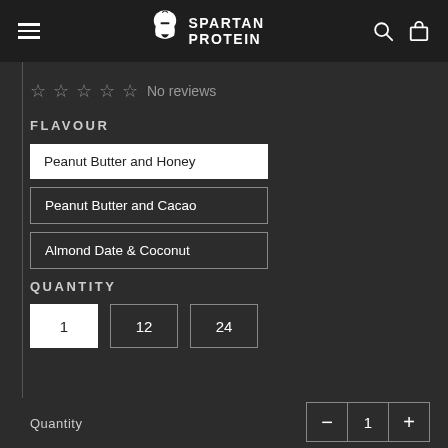SPARTAN PROTEIN
No reviews
FLAVOUR
Peanut Butter and Honey
Peanut Butter and Cacao
Almond Date & Coconut
QUANTITY
1
12
24
Quantity
- 1 +